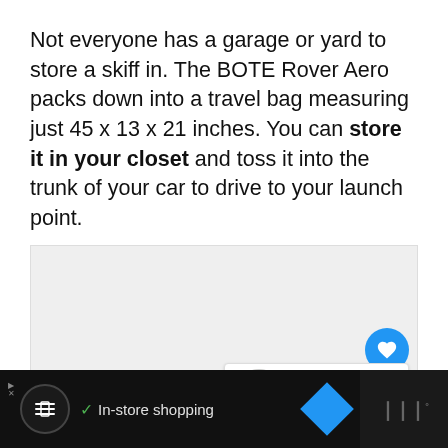Not everyone has a garage or yard to store a skiff in. The BOTE Rover Aero packs down into a travel bag measuring just 45 x 13 x 21 inches. You can store it in your closet and toss it into the trunk of your car to drive to your launch point.
[Figure (photo): Image area placeholder (light gray background representing an embedded photo or carousel of photos)]
WHAT'S NEXT → 15 Best Inflatable...